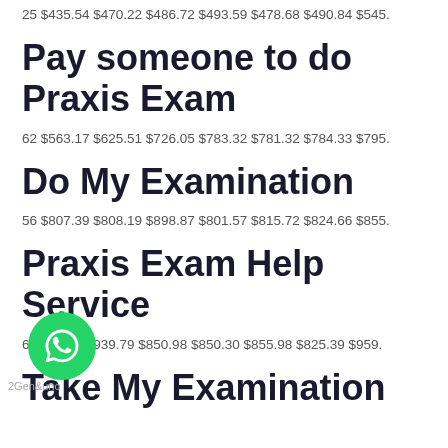25 $435.54 $470.22 $486.72 $493.59 $478.68 $490.84 $545.
Pay someone to do Praxis Exam
62 $563.17 $625.51 $726.05 $783.32 $781.32 $784.33 $795.
Do My Examination
56 $807.39 $808.19 $898.87 $801.57 $815.72 $824.66 $855.
Praxis Exam Help Service
6... .1.29 $939.79 $850.98 $850.30 $855.98 $825.39 $959.
Take My Examination